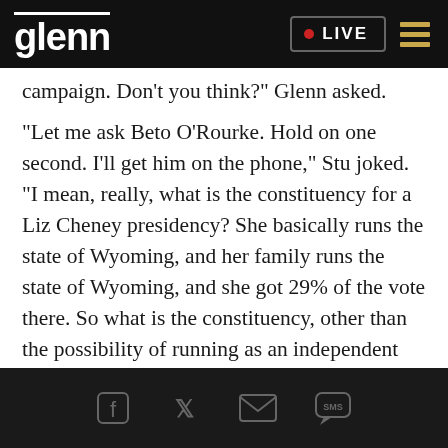glenn • LIVE
…g…y…p… campaign. Don't you think?" Glenn asked.
"Let me ask Beto O'Rourke. Hold on one second. I'll get him on the phone," Stu joked. "I mean, really, what is the constituency for a Liz Cheney presidency? She basically runs the state of Wyoming, and her family runs the state of Wyoming, and she got 29% of the vote there. So what is the constituency, other than the possibility of running as an independent candidate to shave votes from Donald Trump?"
Social icons: Facebook, Twitter, Email, SMS